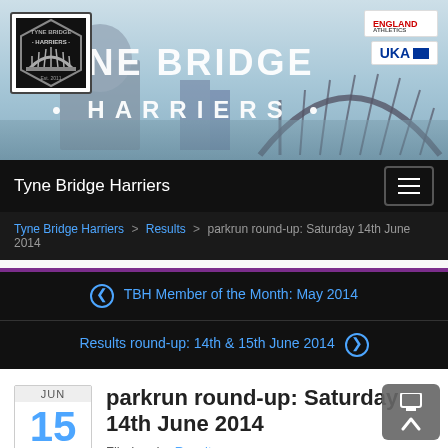[Figure (photo): Tyne Bridge Harriers website banner showing Newcastle skyline with the Tyne Bridge, club logo on left, and UK Athletics/England Athletics badges on right]
Tyne Bridge Harriers
Tyne Bridge Harriers > Results > parkrun round-up: Saturday 14th June 2014
❮ TBH Member of the Month: May 2014
Results round-up: 14th & 15th June 2014 ❯
parkrun round-up: Saturday 14th June 2014
Filed under Results
This is a list of members of Tyne Bridge Harriers who participated at parkrun events on Saturday 14th June 2014